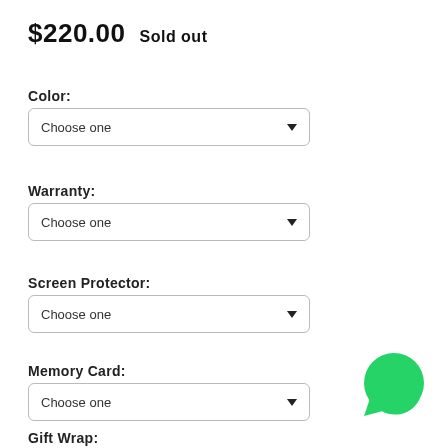$220.00   Sold out
Color:
Choose one
Warranty:
Choose one
Screen Protector:
Choose one
Memory Card:
Choose one
Gift Wrap:
[Figure (logo): WhatsApp green circular logo with white phone handset icon]